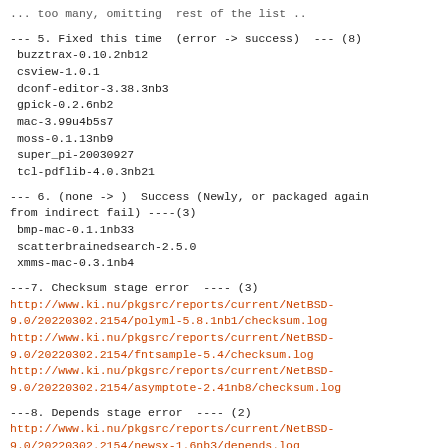... too many, omitting  rest of the list ..
--- 5. Fixed this time  (error -> success)  --- (8)
 buzztrax-0.10.2nb12
 csview-1.0.1
 dconf-editor-3.38.3nb3
 gpick-0.2.6nb2
 mac-3.99u4b5s7
 moss-0.1.13nb9
 super_pi-20030927
 tcl-pdflib-4.0.3nb21
--- 6. (none -> )  Success (Newly, or packaged again from indirect fail) ----(3)
 bmp-mac-0.1.1nb33
 scatterbrainedsearch-2.5.0
 xmms-mac-0.3.1nb4
---7. Checksum stage error  ---- (3)
http://www.ki.nu/pkgsrc/reports/current/NetBSD-9.0/20220302.2154/polyml-5.8.1nb1/checksum.log
http://www.ki.nu/pkgsrc/reports/current/NetBSD-9.0/20220302.2154/fntsample-5.4/checksum.log
http://www.ki.nu/pkgsrc/reports/current/NetBSD-9.0/20220302.2154/asymptote-2.41nb8/checksum.log
---8. Depends stage error  ---- (2)
http://www.ki.nu/pkgsrc/reports/current/NetBSD-9.0/20220302.2154/newsx-1.6nb3/depends.log
http://www.ki.nu/pkgsrc/reports/current/NetBSD-9.0/20220302.2154/ocurier-0.65.0/depends.log